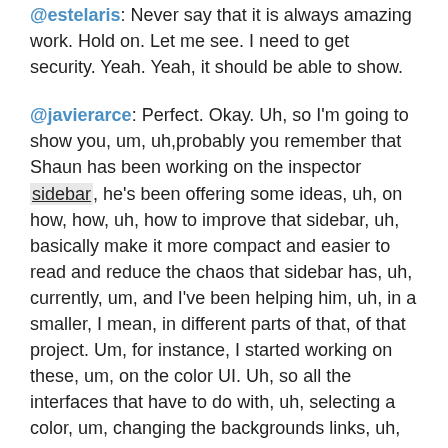@estelaris: Never say that it is always amazing work. Hold on. Let me see. I need to get security. Yeah. Yeah, it should be able to show.
@javierarce: Perfect. Okay. Uh, so I'm going to show you, um, uh,probably you remember that Shaun has been working on the inspector sidebar, he's been offering some ideas, uh, on how, how, uh, how to improve that sidebar, uh, basically make it more compact and easier to read and reduce the chaos that sidebar has, uh, currently, um, and I've been helping him, uh, in a smaller, I mean, in different parts of that, of that project. Um, for instance, I started working on these, um, on the color UI. Uh, so all the interfaces that have to do with, uh, selecting a color, um, changing the backgrounds links, uh, etcetera.